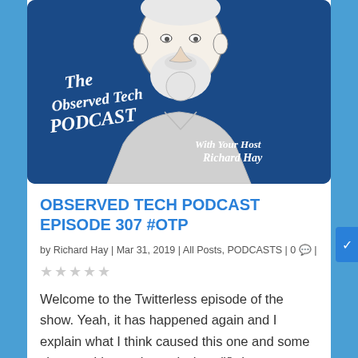[Figure (illustration): Podcast cover art showing a cartoon illustration of a bearded man from shoulders up on a dark blue background, with the text 'The Observed Tech PODCAST With Your Host Richard Hay' in white italic serif font]
OBSERVED TECH PODCAST EPISODE 307 #OTP
by Richard Hay | Mar 31, 2019 | All Posts, PODCASTS | 0 |
★★★★★
Welcome to the Twitterless episode of the show. Yeah, it has happened again and I explain what I think caused this one and some changes I have planned when (if) the account